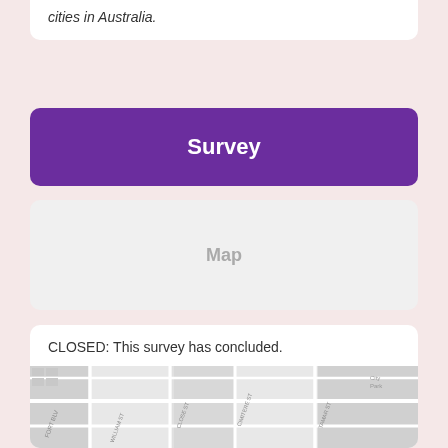cities in Australia.
Survey
Map
CLOSED: This survey has concluded.
Launceston City Heart - Stage 2
[Figure (map): Street map of Launceston city centre showing roads including William St, Close St, Cimitere St, and Tamar St]